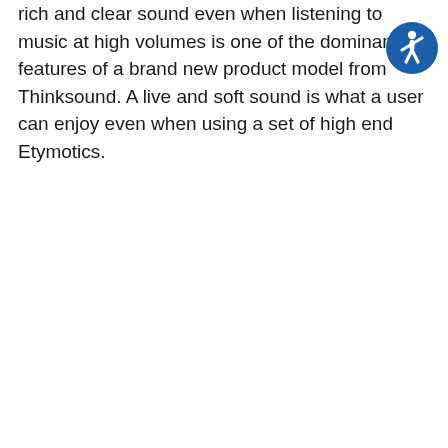rich and clear sound even when listening to music at high volumes is one of the dominant features of a brand new product model from Thinksound. A live and soft sound is what a user can enjoy even when using a set of high end Etymotics.
[Figure (illustration): Accessibility icon: a blue circle with a white stick figure person in a dynamic pose, representing accessibility features.]